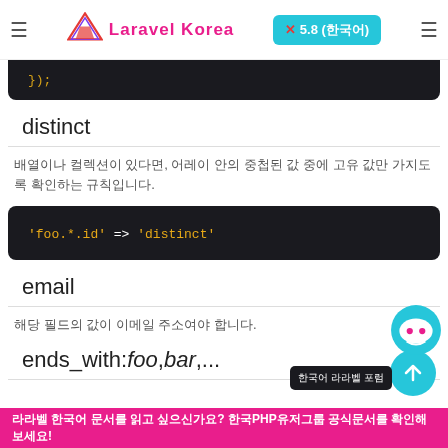Laravel Korea x 5.8 (한국어)
[Figure (screenshot): Code block showing closing bracket: })]
distinct
배열이나 컬렉션이 있다면, 어레이 안의 중첩된 값 중에 고유 값만 가지도록 확인하는 규칙입니다.
[Figure (screenshot): Code block: 'foo.*.id' => 'distinct']
email
해당 필드의 값이 이메일 주소여야 합니다.
ends_with:foo,bar,...
라라벨 한국어 문서를 읽고 싶으신가요? 한국PHP유저그룹 공식문서를 확인해보세요!